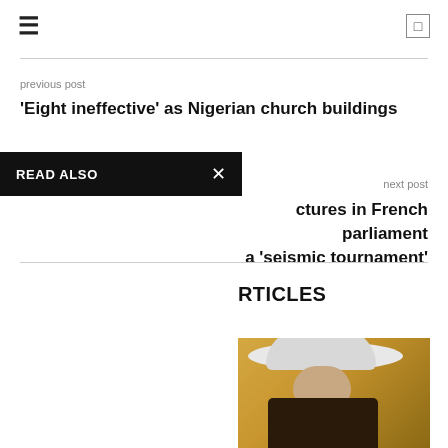Navigation bar with hamburger menu and search icon
previous post
'Eight ineffective' as Nigerian church buildings
READ ALSO
next post
ctures in French parliament a 'seismic tournament'
RTICLES
[Figure (photo): Photo of a person wearing a wide-brim white hat, partial view, warm golden/orange background]